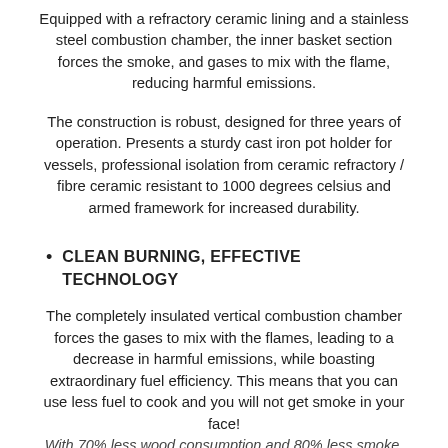Equipped with a refractory ceramic lining and a stainless steel combustion chamber, the inner basket section forces the smoke, and gases to mix with the flame, reducing harmful emissions.
The construction is robust, designed for three years of operation. Presents a sturdy cast iron pot holder for vessels, professional isolation from ceramic refractory / fibre ceramic resistant to 1000 degrees celsius and armed framework for increased durability.
CLEAN BURNING, EFFECTIVE TECHNOLOGY
The completely insulated vertical combustion chamber forces the gases to mix with the flames, leading to a decrease in harmful emissions, while boasting extraordinary fuel efficiency. This means that you can use less fuel to cook and you will not get smoke in your face! With 70% less wood consumption and 80% less smoke.
QUALITY MATERIALS. SUSTANAIBLE AND LONG LASTING